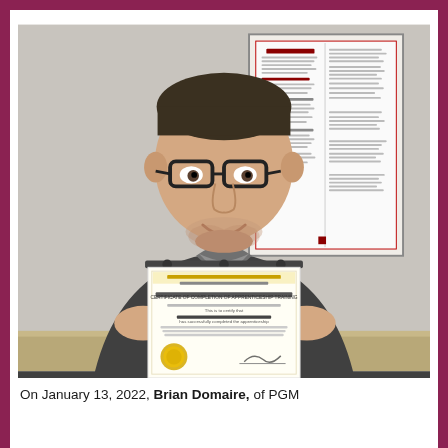[Figure (photo): A man wearing glasses and a dark grey hoodie sweatshirt smiles while holding a Certificate of Completion of Apprenticeship Training. In the background is a framed document on a white wall.]
On January 13, 2022, Brian Domaire, of PGM